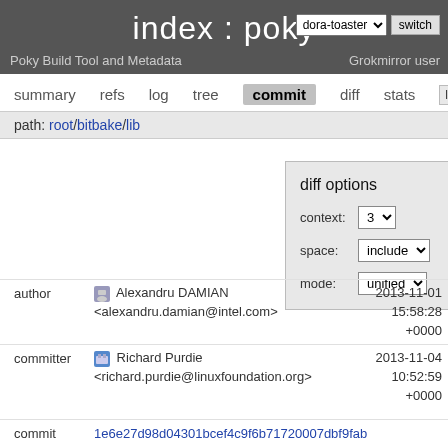index : poky  dora-toaster  switch  Poky Build Tool and Metadata  Grokmirror user
summary  refs  log  tree  commit  diff  stats  log
path: root/bitbake/lib
diff options  context: 3  space: include  mode: unified
author  Alexandru DAMIAN <alexandru.damian@intel.com>  2013-11-01 15:58:28 +0000
committer  Richard Purdie <richard.purdie@linuxfoundation.org>  2013-11-04 10:52:59 +0000
commit  1e6e27d98d04301bcef4c9f6b71720007dbf9fab (patch)
tree  fc102dc3d6152d4eead02a6f2fbfd1d5d7bc04dc /bitbake/lib